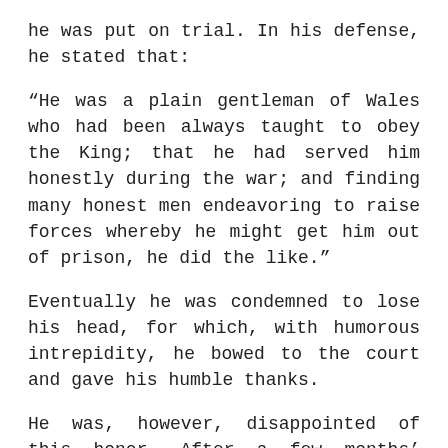he was put on trial.  In his defense, he stated that:
“He was a plain gentleman of Wales who had been always taught to obey the King; that he had served him honestly during the war; and finding many honest men endeavoring to raise forces whereby he might get him out of prison, he did the like.”
Eventually he was condemned to lose his head, for which, with humorous intrepidity, he bowed to the court and gave his humble thanks.
He was, however, disappointed of this honor.  After a few months’ imprisonment, he was pardoned following the intercession of the Spanish and Dutch ambassadors.  He returned to Wales where he sought unsuccessfully to regain his